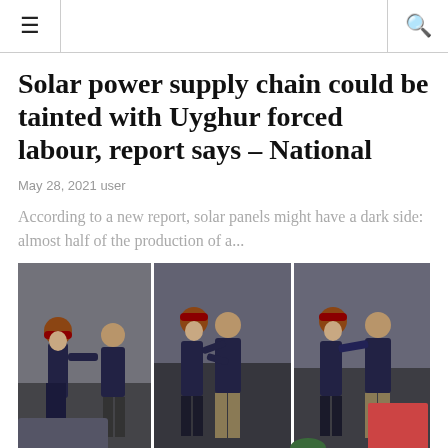≡  🔍
Solar power supply chain could be tainted with Uyghur forced labour, report says – National
May 28, 2021 user
According to a new report, solar panels might have a dark side: almost half of the production of a...
[Figure (photo): Three-panel photo strip showing two men greeting/hugging outdoors near a car and stone building. One man wears a dark red turban and dark suit, the other wears a dark jacket and khaki pants.]